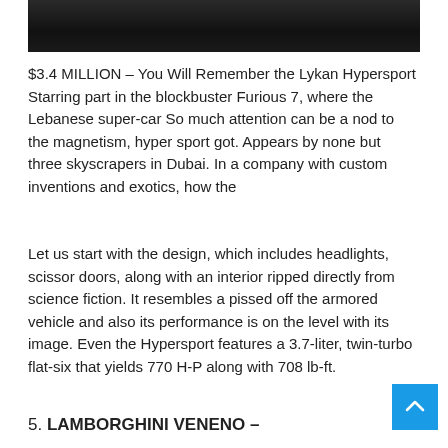[Figure (photo): Dark partial image of a car or vehicle at the top of the page, cropped]
$3.4 MILLION – You Will Remember the Lykan Hypersport Starring part in the blockbuster Furious 7, where the Lebanese super-car So much attention can be a nod to the magnetism, hyper sport got. Appears by none but three skyscrapers in Dubai. In a company with custom inventions and exotics, how the
Let us start with the design, which includes headlights, scissor doors, along with an interior ripped directly from science fiction. It resembles a pissed off the armored vehicle and also its performance is on the level with its image. Even the Hypersport features a 3.7-liter, twin-turbo flat-six that yields 770 H-P along with 708 lb-ft.
5. LAMBORGHINI VENENO –